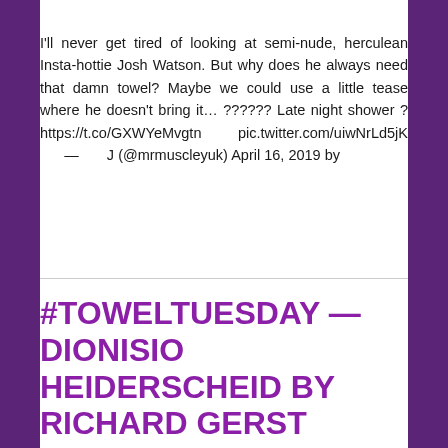I'll never get tired of looking at semi-nude, herculean Insta-hottie Josh Watson. But why does he always need that damn towel? Maybe we could use a little tease where he doesn't bring it… ?????? Late night shower ? https://t.co/GXWYeMvgtn pic.twitter.com/uiwNrLd5jK — J (@mrmuscleyuk) April 16, 2019 by
#TOWELTUESDAY — DIONISIO HEIDERSCHEID BY RICHARD GERST